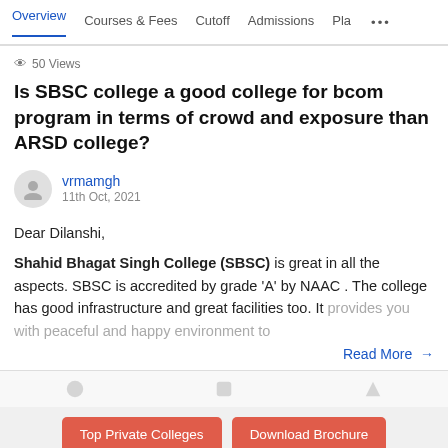Overview | Courses & Fees | Cutoff | Admissions | Pla...
👁 50 Views
Is SBSC college a good college for bcom program in terms of crowd and exposure than ARSD college?
vrmamgh
11th Oct, 2021
Dear Dilanshi,

Shahid Bhagat Singh College (SBSC) is great in all the aspects. SBSC is accredited by grade 'A' by NAAC . The college has good infrastructure and great facilities too. It provides you with peaceful and happy environment to
Read More →